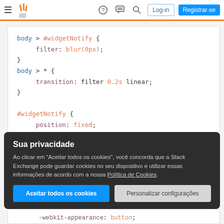Stack Exchange navigation bar with hamburger, logo, help, chat, search, Log-in, Registrar-se
[Figure (screenshot): Code editor showing CSS snippet with body > #widgetNotify, body > *, and #widgetNotify rules with syntax highlighting]
Sua privacidade
Ao clicar em "Aceitar todos os cookies", você concorda que a Stack Exchange pode guardar cookies no seu dispositivo e utilizar essas informações de acordo com a nossa Política de Cookies.
Aceitar todos os cookies | Personalizar configurações